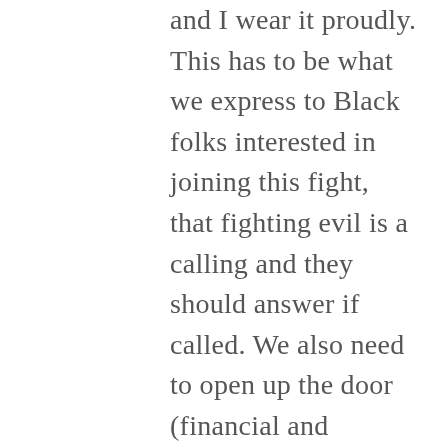and I wear it proudly. This has to be what we express to Black folks interested in joining this fight, that fighting evil is a calling and they should answer if called. We also need to open up the door (financial and physical) for more programs such as BOLD. Their Amandla training program for new organizers or those interested in becoming organizers is a space to learn about the work and examine and explore all the possibilities in this work. I think it's vital that Black folks have space to come together and